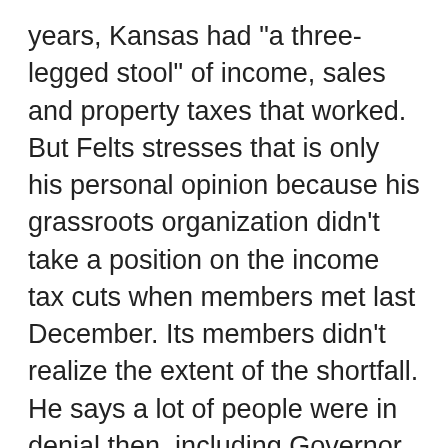years, Kansas had "a three-legged stool" of income, sales and property taxes that worked. But Felts stresses that is only his personal opinion because his grassroots organization didn't take a position on the income tax cuts when members met last December. Its members didn't realize the extent of the shortfall. He says a lot of people were in denial then, including Governor Sam Brownback's administration.
================================
"Permitless Carry" Divides Gun Supporters in Kansas
WICHITA, Kan. (AP) _ Gun rights advocates in Kansas are divided on a bill that would allow